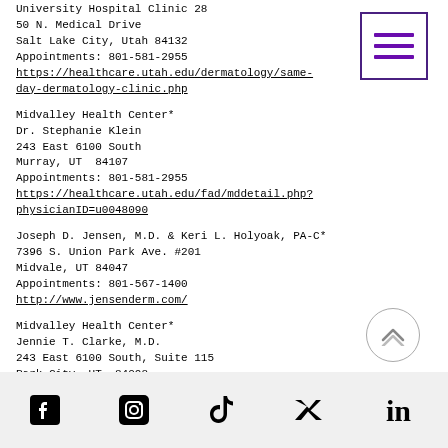University Hospital Clinic 28
50 N. Medical Drive
Salt Lake City, Utah 84132
Appointments: 801-581-2955
https://healthcare.utah.edu/dermatology/same-day-dermatology-clinic.php
Midvalley Health Center*
Dr. Stephanie Klein
243 East 6100 South
Murray, UT  84107
Appointments: 801-581-2955
https://healthcare.utah.edu/fad/mddetail.php?physicianID=u0048090
Joseph D. Jensen, M.D. & Keri L. Holyoak, PA-C*
7396 S. Union Park Ave. #201
Midvale, UT 84047
Appointments: 801-567-1400
http://www.jensenderm.com/
Midvalley Health Center*
Jennie T. Clarke, M.D.
243 East 6100 South, Suite 115
Park City, UT  84098
Appointments: 801-581-2955
https://healthcare.utah.edu/fad/mddetail.php?physicianID=u0984155&tab=academic
[Figure (other): Hamburger menu icon — three purple horizontal lines inside a purple rectangle border]
[Figure (other): Back-to-top button — chevron up arrow inside a circle]
Social media icons: Facebook, Instagram, TikTok, Twitter, LinkedIn